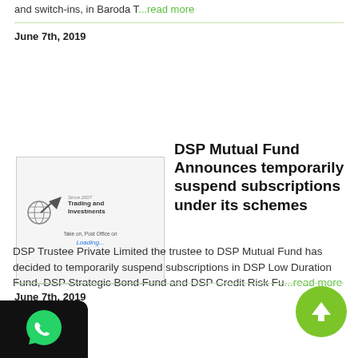and switch-ins, in Baroda T...read more
June 7th, 2019
[Figure (logo): Trading and Investments logo with globe and arrow graphic, tagline text, loading indicator in blue]
DSP Mutual Fund Announces temporarily suspend subscriptions under its schemes
DSP Trustee Private Limited the trustee to DSP Mutual Fund has decided to temporarily suspend subscriptions in DSP Low Duration Fund, DSP Strategic Bond Fund and DSP Credit Risk Fu...read more
June 7th, 2019
[Figure (logo): WhatsApp icon on dark background badge in bottom left corner]
[Figure (other): Green circle with white upward arrow icon in bottom right corner]